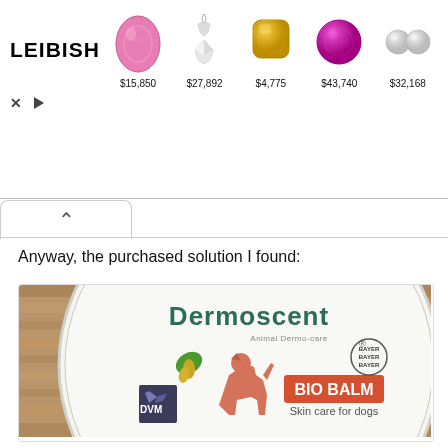[Figure (infographic): Leibish jewelry advertisement banner showing pink sapphire ($15,850), diamond pendant necklace ($27,892), yellow diamond ($4,775), pink diamond ($43,740), and two small diamond earrings ($32,168) with LEIBISH logo on left]
Anyway, the purchased solution I found:
[Figure (photo): Photo of Dermoscent BIO BALM Skin care for dogs product tin, showing a round white tin with the Dermoscent brand name arched at top, Animal Dermo-care tagline, a pink/salmon colored dog silhouette, DVM logo, Bayer logo, green leaf with drop logo, and BIO BALM Skin care for dogs text in orange/red. Tin is placed on a wooden surface.]